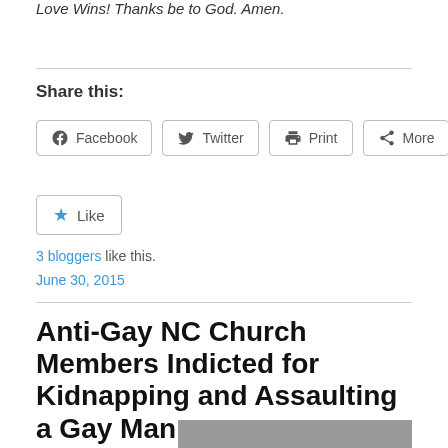Love Wins! Thanks be to God. Amen.
Share this:
Facebook  Twitter  Print  More
Like
3 bloggers like this.
June 30, 2015
Anti-Gay NC Church Members Indicted for Kidnapping and Assaulting a Gay Man
[Figure (photo): Partial photo at bottom of page]